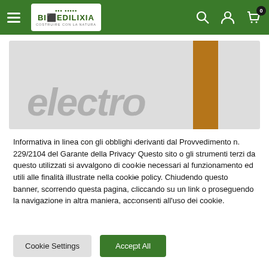Bioedilixia navigation bar with logo, search, account, and cart icons
[Figure (screenshot): Hero banner with text 'electro' in large gray italic letters and a vertical amber/brown bar overlapping the right side of the text]
Informativa in linea con gli obblighi derivanti dal Provvedimento n. 229/2104 del Garante della Privacy Questo sito o gli strumenti terzi da questo utilizzati si avvalgono di cookie necessari al funzionamento ed utili alle finalità illustrate nella cookie policy. Chiudendo questo banner, scorrendo questa pagina, cliccando su un link o proseguendo la navigazione in altra maniera, acconsenti all'uso dei cookie.
Cookie Settings
Accept All